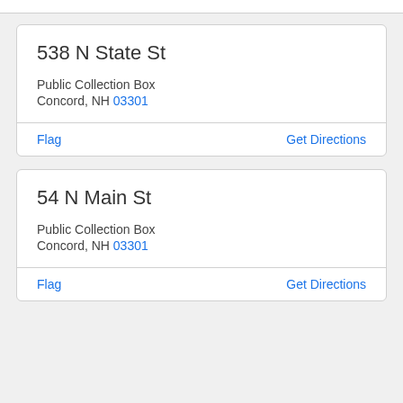538 N State St
Public Collection Box
Concord, NH 03301
Flag    Get Directions
54 N Main St
Public Collection Box
Concord, NH 03301
Flag    Get Directions